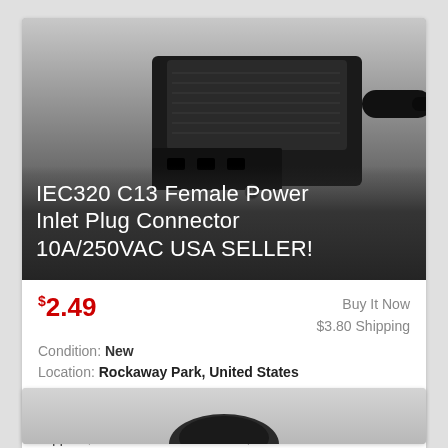[Figure (photo): IEC320 C13 Female Power Inlet Plug Connector — black plastic connector photographed against a grey gradient background]
IEC320 C13 Female Power Inlet Plug Connector 10A/250VAC USA SELLER!
$2.49   Buy It Now   $3.80 Shipping   Condition: New   Location: Rockaway Park, United States   These connectors are made from high quality materials and are commonly used in many applications, such as power supplies, communications cabinets, vehicle ... more
[Figure (photo): Partial second product card showing a cable or connector item, cut off at bottom of page]